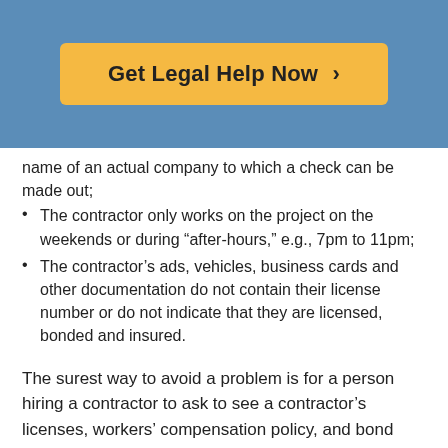[Figure (other): Orange/yellow button with text 'Get Legal Help Now >' on a blue background header]
name of an actual company to which a check can be made out;
The contractor only works on the project on the weekends or during "after-hours," e.g., 7pm to 11pm;
The contractor's ads, vehicles, business cards and other documentation do not contain their license number or do not indicate that they are licensed, bonded and insured.
The surest way to avoid a problem is for a person hiring a contractor to ask to see a contractor's licenses, workers' compensation policy, and bond and liability insurance policies before hiring them for a construction project. A person should look at the documentation carefully to see the effective dates of insurance policies and licenses. If a person does not feel comfortable or competent to take care of this, they can consult an